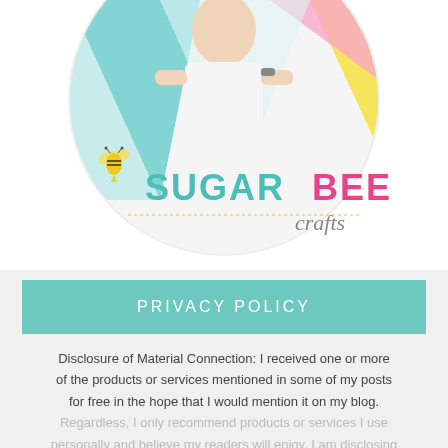[Figure (logo): Sugar Bee Crafts logo — circular photo of a person wearing white, set against a colorful geometric background of teal, yellow, and pink triangles. The logo text reads 'SUGAR BEE crafts' with a bee illustration. SUGAR in teal, BEE in pink, crafts in gray script.]
PRIVACY POLICY
Disclosure of Material Connection: I received one or more of the products or services mentioned in some of my posts for free in the hope that I would mention it on my blog.
Regardless, I only recommend products or services I use personally and believe my readers will enjoy. I am disclosing